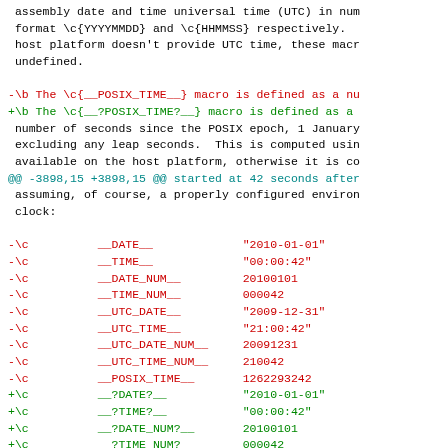assembly date and time universal time (UTC) in num format \c{YYYYMMDD} and \c{HHMMSS} respectively. host platform doesn't provide UTC time, these macr undefined.
-\b The \c{__POSIX_TIME__} macro is defined as a nu
+\b The \c{__?POSIX_TIME?__} macro is defined as a number of seconds since the POSIX epoch, 1 January excluding any leap seconds.  This is computed usin available on the host platform, otherwise it is co
@@ -3898,15 +3898,15 @@ started at 42 seconds after assuming, of course, a properly configured environ clock:
-\c          __DATE__             "2010-01-01"
-\c          __TIME__             "00:00:42"
-\c          __DATE_NUM__         20100101
-\c          __TIME_NUM__         000042
-\c          __UTC_DATE__         "2009-12-31"
-\c          __UTC_TIME__         "21:00:42"
-\c          __UTC_DATE_NUM__     20091231
-\c          __UTC_TIME_NUM__     210042
-\c          __POSIX_TIME__       1262293242
+\c          __?DATE?__           "2010-01-01"
+\c          __?TIME?__           "00:00:42"
+\c          __?DATE_NUM?__       20100101
+\c          __?TIME_NUM?__       000042
+\c          __?UTC_DATE?__       "2009-12-31"
+\c          __?UTC_TIME?__       "21:00:42"
+\c          __?UTC_DATE_NUM?__   20091231